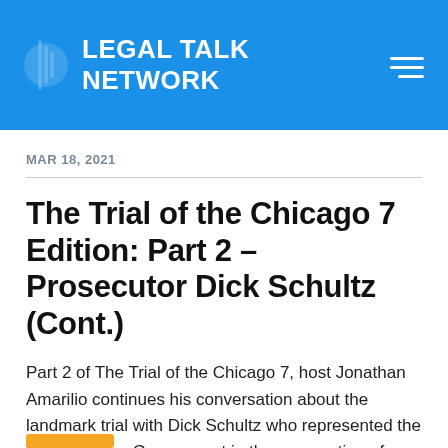LEGAL TALK NETWORK
MAR 18, 2021
The Trial of the Chicago 7 Edition: Part 2 – Prosecutor Dick Schultz (Cont.)
Part 2 of The Trial of the Chicago 7, host Jonathan Amarilio continues his conversation about the landmark trial with Dick Schultz who represented the United States Government in the prosecution of...